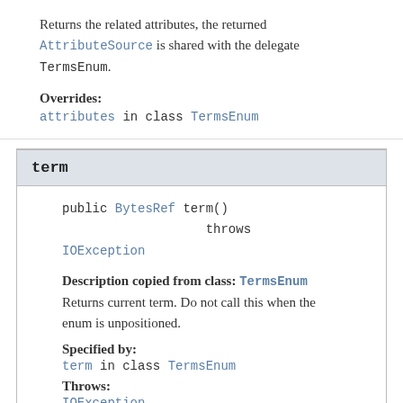Returns the related attributes, the returned AttributeSource is shared with the delegate TermsEnum.
Overrides:
attributes in class TermsEnum
term
public BytesRef term()
           throws IOException
Description copied from class: TermsEnum
Returns current term. Do not call this when the enum is unpositioned.
Specified by:
term in class TermsEnum
Throws:
IOException